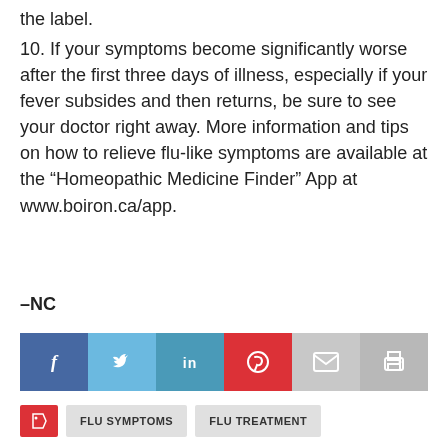the label.
10. If your symptoms become significantly worse after the first three days of illness, especially if your fever subsides and then returns, be sure to see your doctor right away. More information and tips on how to relieve flu-like symptoms are available at the “Homeopathic Medicine Finder” App at www.boiron.ca/app.
–NC
[Figure (infographic): Social share buttons: Facebook (blue), Twitter (light blue), LinkedIn (teal-blue), Pinterest (red), Mail (light grey), Print (grey)]
[Figure (infographic): Tag row with red tag icon, FLU SYMPTOMS button, FLU TREATMENT button]